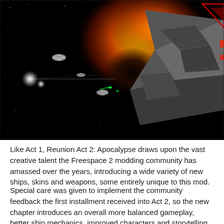[Figure (illustration): Space battle scene showing large spacecraft on the right with metallic angular hull and red triangular markings, a large orange and yellow explosion/fireball in the upper center-right, small fighter ships in the middle distance, two bright white light sources on the left side, and green laser fire, all set against a black starfield background.]
Like Act 1, Reunion Act 2: Apocalypse draws upon the vast creative talent the Freespace 2 modding community has amassed over the years, introducing a wide variety of new ships, skins and weapons, some entirely unique to this mod.
Special care was given to implement the community feedback the first installment received into Act 2, so the new chapter introduces an overall more balanced gameplay, better ship mechanics, improved characters and storytelling and save/load